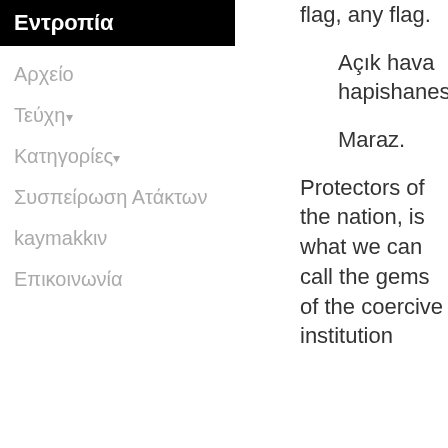Εντροπία
Αρχείο
Τεύχη ▾
Κατηγορίες ▾
Συσπείρωση Ατάκτων
kaymakkιν
Επικοινωνία
flag, any flag.
Açık hava hapishanesi.
Maraz.
Protectors of the nation, is what we can call the gems of the coercive institution